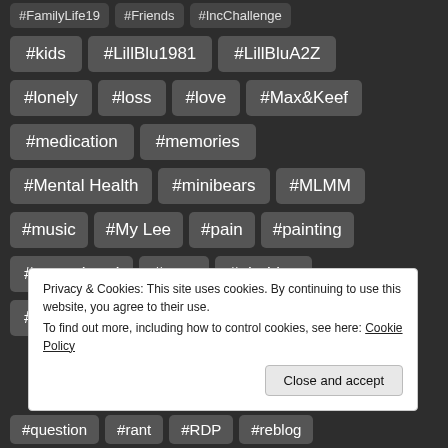#FamilyLife19 #Friends #IncChallenge
#kids #LillBlu1981 #LillBluA2Z
#lonely #loss #love #Max&Keef
#medication #memories
#Mental Health #minibears #MLMM
#music #My Lee #pain #painting
#parenthood #pets #phobias
#photo #Photo challenge
Privacy & Cookies: This site uses cookies. By continuing to use this website, you agree to their use.
To find out more, including how to control cookies, see here: Cookie Policy
#question #rant #RDP #reblog